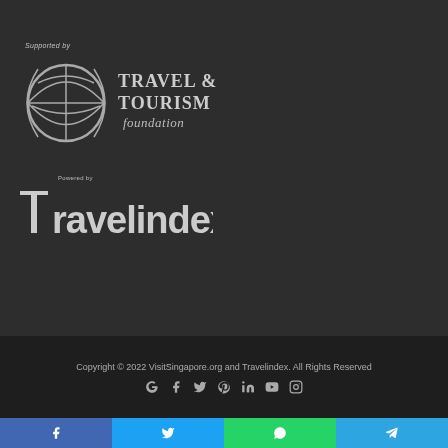[Figure (logo): Travel & Tourism Foundation logo with globe icon and text 'TRAVEL & TOURISM foundation', preceded by 'Supported by' label]
[Figure (logo): Travelindex logo with stylized text 'Travelindex' preceded by 'Powered by' label]
Copyright © 2022 VisitSingapore.org and Travelindex. All Rights Reserved
[Figure (infographic): Social media icons row: Google+, Facebook, Twitter, Pinterest, LinkedIn, YouTube, Instagram]
[Figure (infographic): Share buttons row: Facebook (blue), Twitter (light blue), WhatsApp (green), Telegram (blue)]